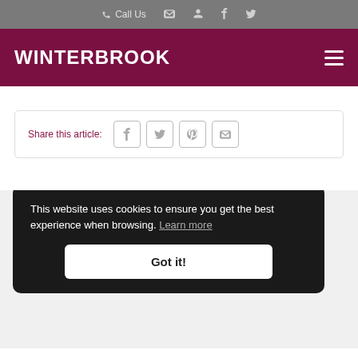Call Us
WINTERBROOK
Share this article:
This website uses cookies to ensure you get the best experience when browsing. Learn more
Got it!
Wallingford
123 St Martins Street, Wallingford, OX10 0AL